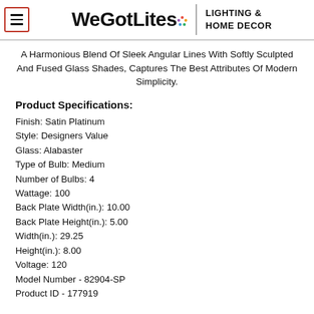WeGotLites LIGHTING & HOME DECOR
A Harmonious Blend Of Sleek Angular Lines With Softly Sculpted And Fused Glass Shades, Captures The Best Attributes Of Modern Simplicity.
Product Specifications:
Finish: Satin Platinum
Style: Designers Value
Glass: Alabaster
Type of Bulb: Medium
Number of Bulbs: 4
Wattage: 100
Back Plate Width(in.): 10.00
Back Plate Height(in.): 5.00
Width(in.): 29.25
Height(in.): 8.00
Voltage: 120
Model Number - 82904-SP
Product ID - 177919